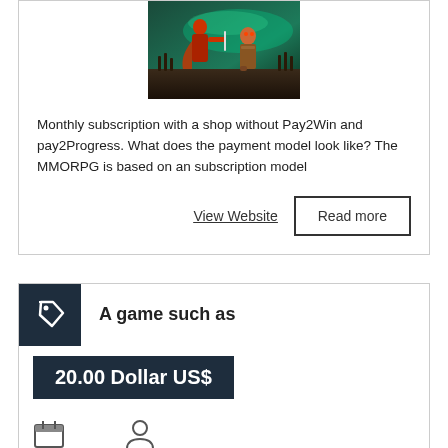[Figure (photo): Game screenshot showing two characters in combat with a fantasy battle scene and green aurora sky background]
Monthly subscription with a shop without Pay2Win and pay2Progress. What does the payment model look like? The MMORPG is based on an subscription model
View Website
Read more
[Figure (logo): Dark navy square box with a white price tag icon]
A game such as
20.00 Dollar US$